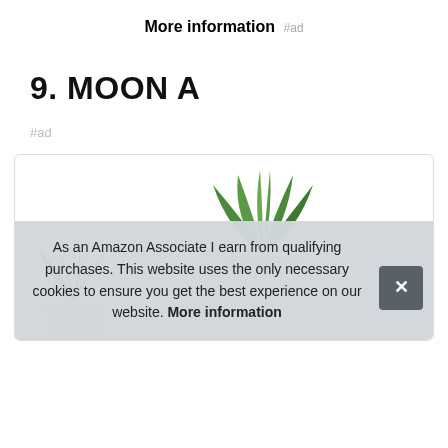More information #ad
9. MOON A
#ad
[Figure (photo): A small succulent or aloe-type plant in a white pot, with a partial view of another similar plant on the left side, displayed inside a bordered product card.]
As an Amazon Associate I earn from qualifying purchases. This website uses the only necessary cookies to ensure you get the best experience on our website. More information